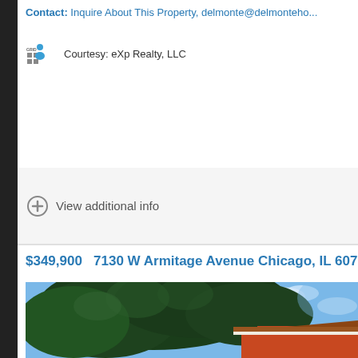Contact: Inquire About This Property, delmonte@delmonteho...
Courtesy: eXp Realty, LLC
View additional info
$349,900   7130 W Armitage Avenue Chicago, IL 60707
[Figure (photo): Exterior photo of property at 7130 W Armitage Avenue Chicago, showing large trees and a red/orange building structure with a brown roof, blue sky in background.]